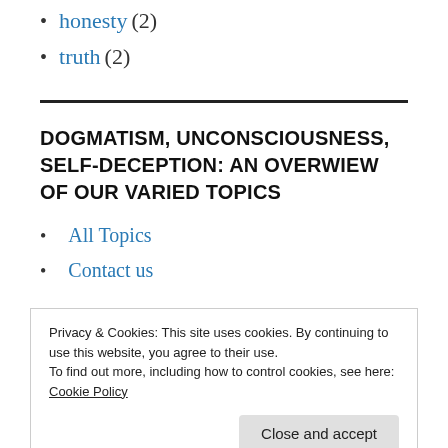honesty (2)
truth (2)
DOGMATISM, UNCONSCIOUSNESS, SELF-DECEPTION: AN OVERWIEW OF OUR VARIED TOPICS
All Topics
Contact us
Privacy & Cookies: This site uses cookies. By continuing to use this website, you agree to their use.
To find out more, including how to control cookies, see here:
Cookie Policy
Close and accept
Personal Opinion Discipline